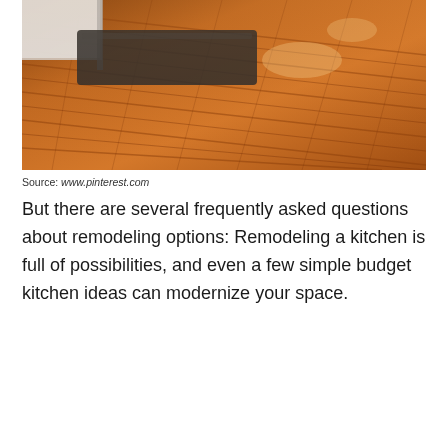[Figure (photo): Photo of a polished hardwood kitchen floor with warm amber/orange tones. White cabinetry is visible in the upper left corner. A dark anti-fatigue mat sits on the floor near the cabinets. Light reflections gleam on the glossy wood planks.]
Source: www.pinterest.com
But there are several frequently asked questions about remodeling options: Remodeling a kitchen is full of possibilities, and even a few simple budget kitchen ideas can modernize your space.